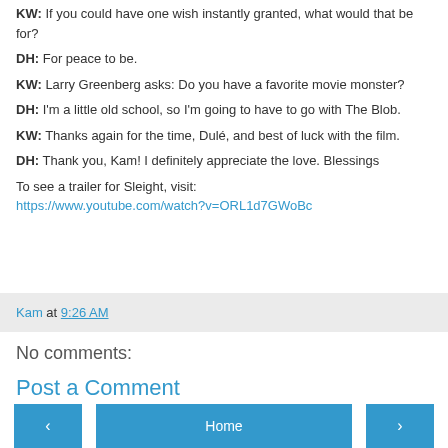KW: If you could have one wish instantly granted, what would that be for?
DH: For peace to be.
KW: Larry Greenberg asks: Do you have a favorite movie monster?
DH: I'm a little old school, so I'm going to have to go with The Blob.
KW: Thanks again for the time, Dulé, and best of luck with the film.
DH: Thank you, Kam! I definitely appreciate the love. Blessings
To see a trailer for Sleight, visit:
https://www.youtube.com/watch?v=ORL1d7GWoBc
Kam at 9:26 AM
No comments:
Post a Comment
< Home >